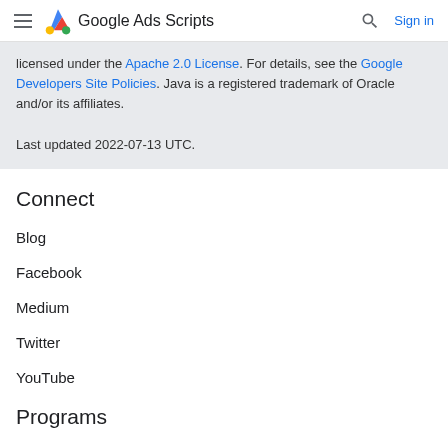Google Ads Scripts — Sign in
licensed under the Apache 2.0 License. For details, see the Google Developers Site Policies. Java is a registered trademark of Oracle and/or its affiliates.
Last updated 2022-07-13 UTC.
Connect
Blog
Facebook
Medium
Twitter
YouTube
Programs
Women Techmakers